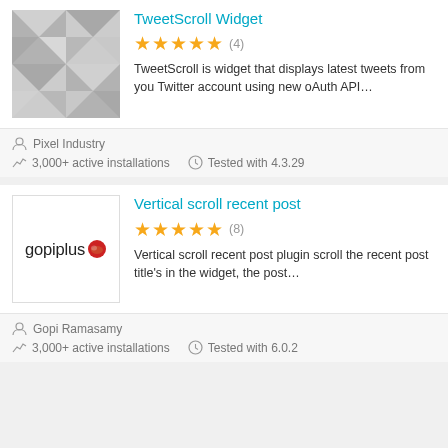[Figure (screenshot): TweetScroll Widget plugin listing with checkerboard placeholder thumbnail]
TweetScroll Widget
★★★★★ (4)
TweetScroll is widget that displays latest tweets from you Twitter account using new oAuth API...
Pixel Industry
3,000+ active installations   Tested with 4.3.29
[Figure (logo): gopiplus logo — text with red circular icon]
Vertical scroll recent post
★★★★★ (8)
Vertical scroll recent post plugin scroll the recent post title's in the widget, the post...
Gopi Ramasamy
3,000+ active installations   Tested with 6.0.2